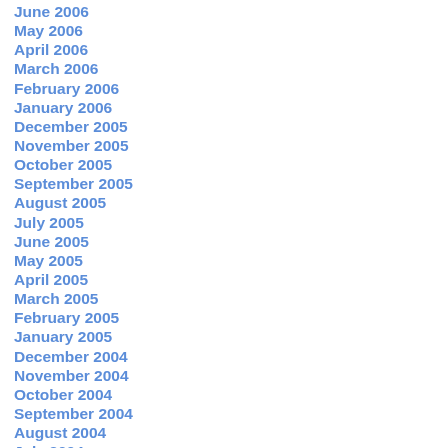June 2006
May 2006
April 2006
March 2006
February 2006
January 2006
December 2005
November 2005
October 2005
September 2005
August 2005
July 2005
June 2005
May 2005
April 2005
March 2005
February 2005
January 2005
December 2004
November 2004
October 2004
September 2004
August 2004
July 2004
June 2004
May 2004
April 2004
March 2004
February 2004
January 2004